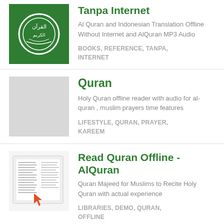[Figure (logo): Green square icon with white circular Quran emblem]
Tanpa Internet
Al Quran and Indonesian Translation Offline Without Internet and AlQuran MP3 Audio
BOOKS, REFERENCE, TANPA, INTERNET
[Figure (illustration): Light gray placeholder square icon]
Quran
Holy Quran offline reader with audio for al-quran , muslim prayers time features
LIFESTYLE, QURAN, PRAYER, KAREEM
[Figure (illustration): App icon showing pages of Quran text with an orange arrow cursor]
Read Quran Offline - AlQuran
Quran Majeed for Muslims to Recite Holy Quran with actual experience
LIBRARIES, DEMO, QURAN, OFFLINE